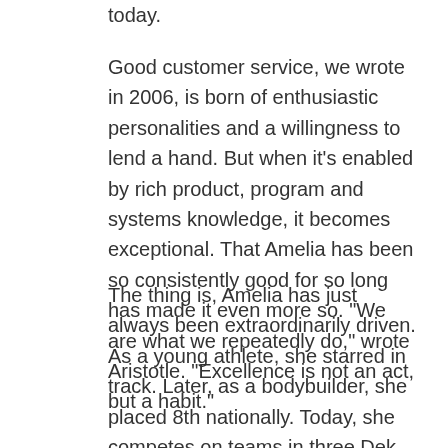today.
Good customer service, we wrote in 2006, is born of enthusiastic personalities and a willingness to lend a hand. But when it’s enabled by rich product, program and systems knowledge, it becomes exceptional. That Amelia has been so consistently good for so long has made it even more so. “We are what we repeatedly do,” wrote Aristotle. “Excellence is not an act, but a habit.”
The thing is, Amelia has just always been extraordinarily driven. As a young athlete, she starred in track. Later, as a bodybuilder, she placed 8th nationally. Today, she competes on teams in three Dek Hockey leagues. As an inspired single mom, she raised a daughter and is the proud, spoiling Nana of three beautiful grandkids. She will tell you that her drive was a gift from her mother and grandmother, both spirited and devoted role